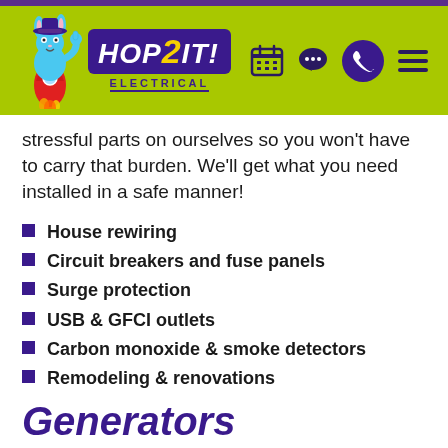HOP2IT! ELECTRICAL
stressful parts on ourselves so you won't have to carry that burden. We'll get what you need installed in a safe manner!
House rewiring
Circuit breakers and fuse panels
Surge protection
USB & GFCI outlets
Carbon monoxide & smoke detectors
Remodeling & renovations
Generators
We'll work with you to make sure you have the power you need, no matter what happens around you. If it's time for a home generator installation in